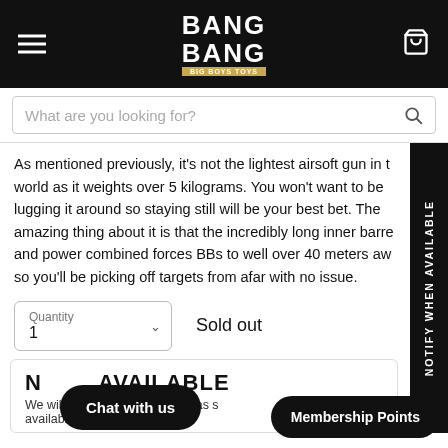BANG BANG
What are you looking for?
As mentioned previously, it's not the lightest airsoft gun in the world as it weights over 5 kilograms. You won't want to be lugging it around so staying still will be your best bet. The amazing thing about it is that the incredibly long inner barrel and power combined forces BBs to well over 40 meters away so you'll be picking off targets from afar with no issue.
Quantity
1
Sold out
NOTIFY WHEN AVAILABLE
AVAILABLE
We will send you a notification as soon as this product is available again.
Chat with us
Membership Points